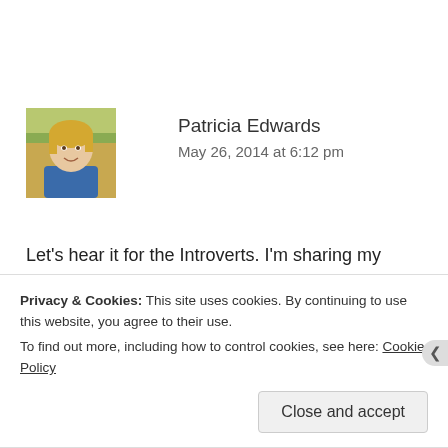[Figure (photo): Avatar photo of Patricia Edwards, a woman with blonde hair wearing a blue top, outdoors background]
Patricia Edwards
May 26, 2014 at 6:12 pm
Let’s hear it for the Introverts. I’m sharing my fairly unusual experience with your readers; I was tested as introvert and totally agreed with that conclusion. I always recharged my batteries with down and alone time, speaking engagements
Privacy & Cookies: This site uses cookies. By continuing to use this website, you agree to their use.
To find out more, including how to control cookies, see here: Cookie Policy
Close and accept